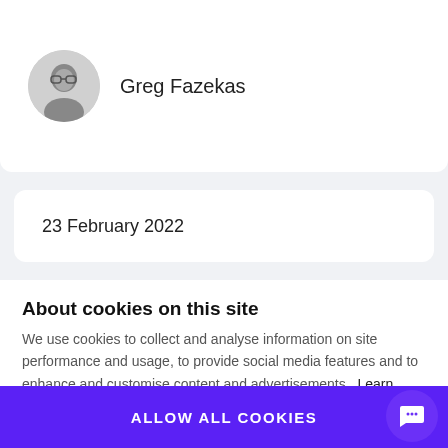[Figure (photo): Black and white circular avatar photo of a man with glasses]
Greg Fazekas
23 February 2022
About cookies on this site
We use cookies to collect and analyse information on site performance and usage, to provide social media features and to enhance and customise content and advertisements. Learn more
Cookie settings
ALLOW ALL COOKIES